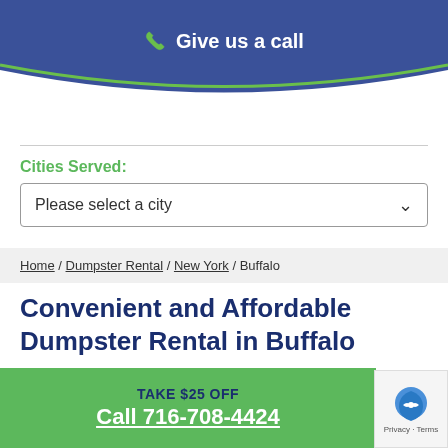Give us a call
Cities Served:
Please select a city
Home / Dumpster Rental / New York / Buffalo
Convenient and Affordable Dumpster Rental in Buffalo
As dumpster rentals in Buffalo serve in keeping the clutter
TAKE $25 OFF
Call 716-708-4424